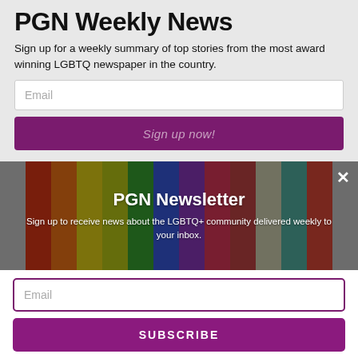PGN Weekly News
Sign up for a weekly summary of top stories from the most award winning LGBTQ newspaper in the country.
[Figure (screenshot): Email input field placeholder]
[Figure (screenshot): Sign up now! button in dark purple]
[Figure (photo): Colorful rainbow wooden planks background image with PGN Newsletter overlay]
PGN Newsletter
Sign up to receive news about the LGBTQ+ community delivered weekly to your inbox.
[Figure (screenshot): Email input field with purple border]
[Figure (screenshot): SUBSCRIBE button in purple]